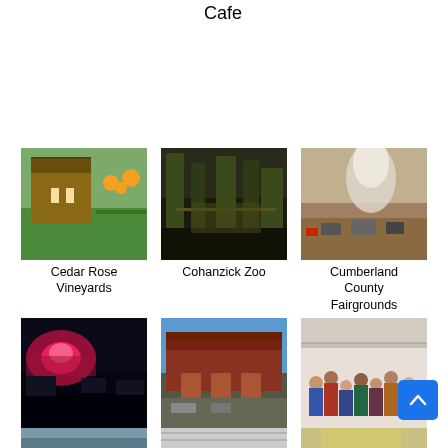Cafe
[Figure (photo): Cedar Rose Vineyards - outdoor pavilion with tables and green lawn]
Cedar Rose Vineyards
[Figure (photo): Cohanzick Zoo - trees and zoo enclosure]
Cohanzick Zoo
[Figure (photo): Cumberland County Fairgrounds - vehicles and smoke/dust]
Cumberland County Fairgrounds
[Figure (photo): Cumberland Crossing Shopping - night shot of illuminated shopping area]
Cumberland Crossing Shopping
[Figure (photo): Custard Corral - red barn-style building with parking lot]
Custard Corral
[Figure (photo): Dwelling Place Church (Network) - interior with crowd of people]
Dwelling Place Church (Network)
[Figure (photo): Partial view - cars in parking lot]
[Figure (photo): Partial view - document or menu]
[Figure (photo): Partial view - building exterior]